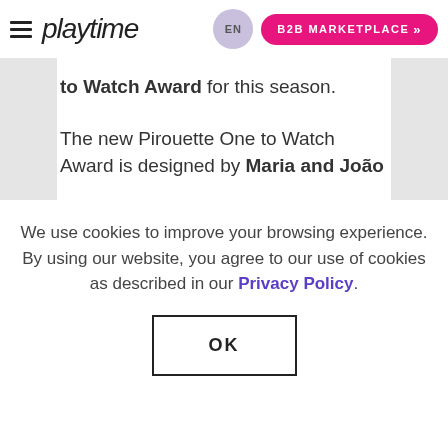playtime | EN | B2B MARKETPLACE
to Watch Award for this season.

The new Pirouette One to Watch Award is designed by Maria and João
We use cookies to improve your browsing experience. By using our website, you agree to our use of cookies as described in our Privacy Policy.
OK